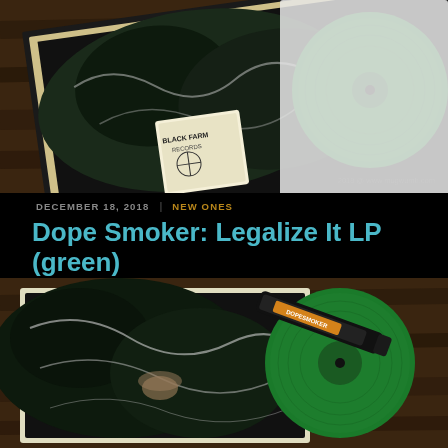[Figure (photo): Photograph of a black and white album cover (Black Farm Records) with a green vinyl LP partially out of the sleeve, placed on a wooden floor. Watermark: 2018 @ www.mugwumb.com]
DECEMBER 18, 2018  |  NEW ONES
Dope Smoker: Legalize It LP (green)
[Figure (photo): Second photograph showing close-up of the Dope Smoker LP cover (black and white macro photography) with a green vinyl record partially visible alongside what appears to be a black marker/pen, on a wooden floor.]